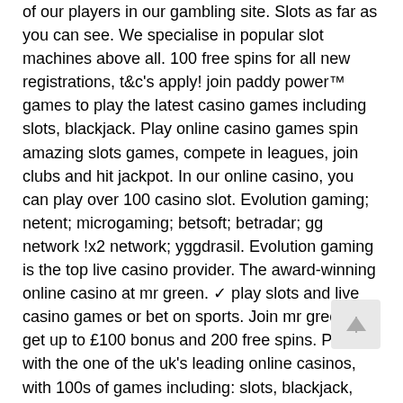of our players in our gambling site. Slots as far as you can see. We specialise in popular slot machines above all. 100 free spins for all new registrations, t&amp;c's apply! join paddy power™ games to play the latest casino games including slots, blackjack. Play online casino games spin amazing slots games, compete in leagues, join clubs and hit jackpot. In our online casino, you can play over 100 casino slot. Evolution gaming; netent; microgaming; betsoft; betradar; gg network !x2 network; yggdrasil. Evolution gaming is the top live casino provider. The award-winning online casino at mr green. ✓ play slots and live casino games or bet on sports. Join mr green &amp; get up to £100 bonus and 200 free spins. Play with the one of the uk's leading online casinos, with 100s of games including: slots, blackjack, roulette and more (t&amp;c apply). European players are able to enjoy a massive range of games